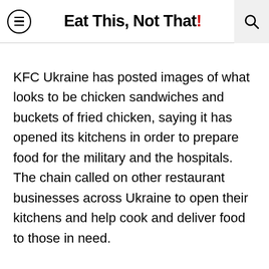Eat This, Not That!
KFC Ukraine has posted images of what looks to be chicken sandwiches and buckets of fried chicken, saying it has opened its kitchens in order to prepare food for the military and the hospitals. The chain called on other restaurant businesses across Ukraine to open their kitchens and help cook and deliver food to those in need.